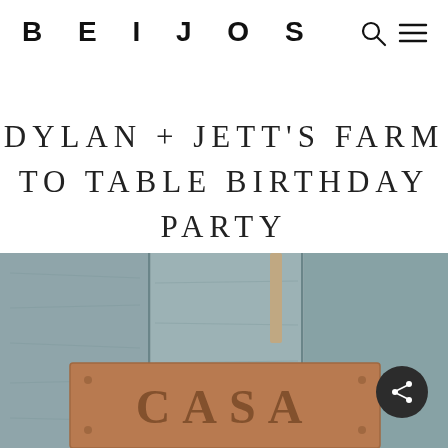BEIJOS
DYLAN + JETT'S FARM TO TABLE BIRTHDAY PARTY
[Figure (photo): A wooden sign reading 'CASA' mounted on rustic grey weathered wood planks, with a leather or copper-toned rectangular plate, viewed from close up at the bottom of the page.]